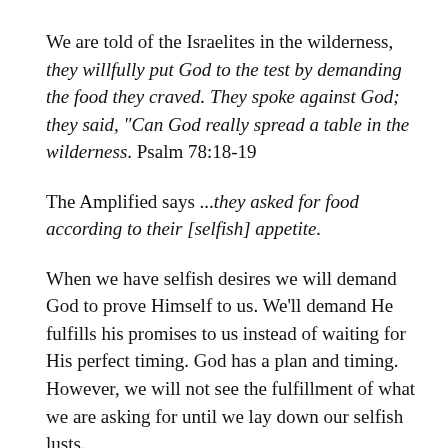We are told of the Israelites in the wilderness, they willfully put God to the test by demanding the food they craved. They spoke against God; they said, "Can God really spread a table in the wilderness. Psalm 78:18-19
The Amplified says ...they asked for food according to their [selfish] appetite.
When we have selfish desires we will demand God to prove Himself to us. We'll demand He fulfills his promises to us instead of waiting for His perfect timing. God has a plan and timing. However, we will not see the fulfillment of what we are asking for until we lay down our selfish lusts.
We can keep testing God with our selfish desires